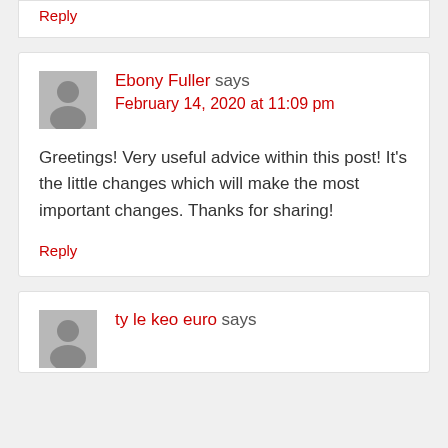Reply
Ebony Fuller says
February 14, 2020 at 11:09 pm
Greetings! Very useful advice within this post! It's the little changes which will make the most important changes. Thanks for sharing!
Reply
ty le keo euro says